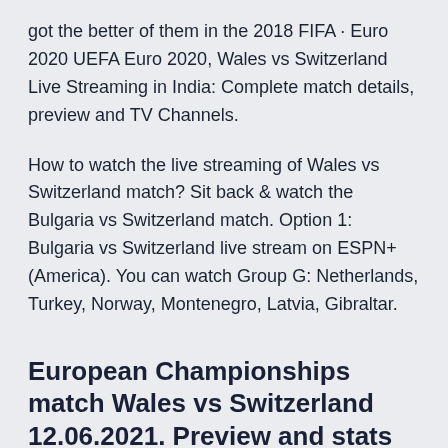got the better of them in the 2018 FIFA · Euro 2020 UEFA Euro 2020, Wales vs Switzerland Live Streaming in India: Complete match details, preview and TV Channels.
How to watch the live streaming of Wales vs Switzerland match? Sit back & watch the Bulgaria vs Switzerland match. Option 1: Bulgaria vs Switzerland live stream on ESPN+ (America). You can watch Group G: Netherlands, Turkey, Norway, Montenegro, Latvia, Gibraltar.
European Championships match Wales vs Switzerland 12.06.2021. Preview and stats followed by live